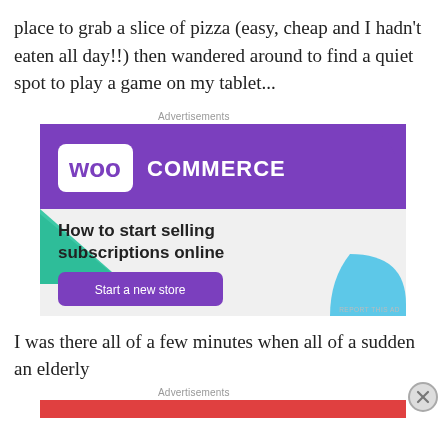place to grab a slice of pizza (easy, cheap and I hadn't eaten all day!!) then wandered around to find a quiet spot to play a game on my tablet...
Advertisements
[Figure (illustration): WooCommerce advertisement banner showing purple header with WooCommerce logo, teal triangle shape, text 'How to start selling subscriptions online', a 'Start a new store' button, and a light blue curved shape on a light gray background.]
I was there all of a few minutes when all of a sudden an elderly
Advertisements